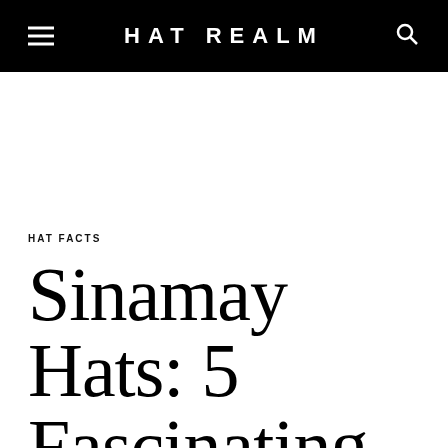HAT REALM
HAT FACTS
Sinamay Hats: 5 Fascinating Facts